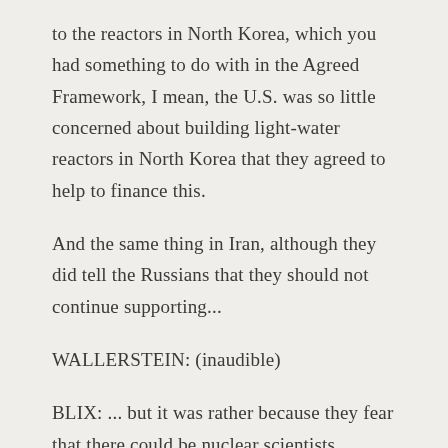to the reactors in North Korea, which you had something to do with in the Agreed Framework, I mean, the U.S. was so little concerned about building light-water reactors in North Korea that they agreed to help to finance this.
And the same thing in Iran, although they did tell the Russians that they should not continue supporting...
WALLERSTEIN: (inaudible)
BLIX: ... but it was rather because they fear that there could be nuclear scientists coming in the train of people going from Russia to Iran. And now we have seen how the Europeans, the Brits and the